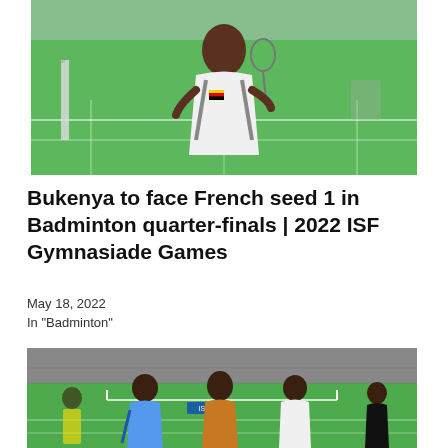[Figure (photo): A badminton player wearing a white Uganda jersey and carrying a racket bag, standing on a green badminton court indoors.]
Bukenya to face French seed 1 in Badminton quarter-finals | 2022 ISF Gymnasiade Games
May 18, 2022
In "Badminton"
[Figure (photo): Three young men standing together in front of a badminton net on a green court inside a sports hall, one wearing a Uganda jersey.]